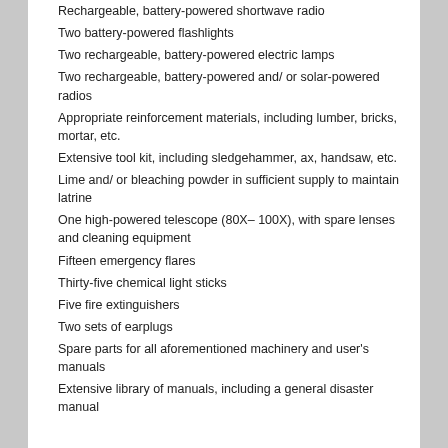Rechargeable, battery-powered shortwave radio
Two battery-powered flashlights
Two rechargeable, battery-powered electric lamps
Two rechargeable, battery-powered and/ or solar-powered radios
Appropriate reinforcement materials, including lumber, bricks, mortar, etc.
Extensive tool kit, including sledgehammer, ax, handsaw, etc.
Lime and/ or bleaching powder in sufficient supply to maintain latrine
One high-powered telescope (80X– 100X), with spare lenses and cleaning equipment
Fifteen emergency flares
Thirty-five chemical light sticks
Five fire extinguishers
Two sets of earplugs
Spare parts for all aforementioned machinery and user's manuals
Extensive library of manuals, including a general disaster manual